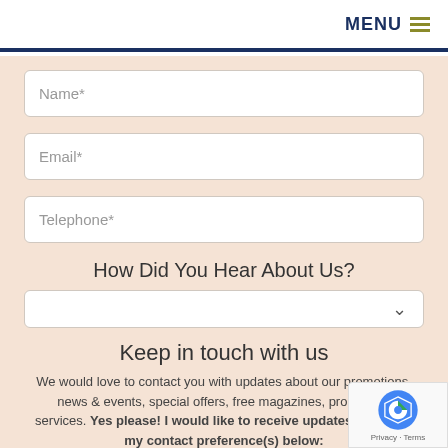MENU ≡
Name*
Email*
Telephone*
How Did You Hear About Us?
(dropdown selector)
Keep in touch with us
We would love to contact you with updates about our promotions, news & events, special offers, free magazines, products & services. Yes please! I would like to receive updates & control my contact preference(s) below: